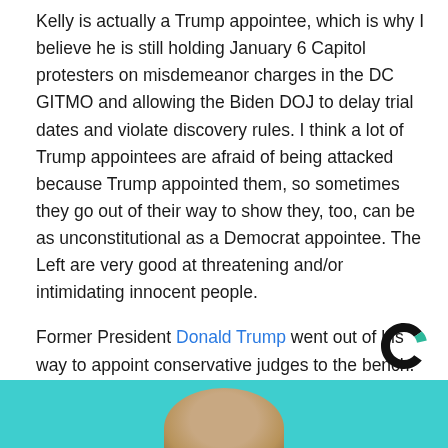Kelly is actually a Trump appointee, which is why I believe he is still holding January 6 Capitol protesters on misdemeanor charges in the DC GITMO and allowing the Biden DOJ to delay trial dates and violate discovery rules. I think a lot of Trump appointees are afraid of being attacked because Trump appointed them, so sometimes they go out of their way to show they, too, can be as unconstitutional as a Democrat appointee. The Left are very good at threatening and/or intimidating innocent people.
Former President Donald Trump went out of his way to appoint conservative judges to the bench. It's very disappointing to see some of them caving to the DC establishment instead of following the Constitution.
[Figure (logo): Curved C logo mark in black and green, resembling a news outlet logo]
[Figure (photo): Top portion of a person's head with brown hair visible against a teal/cyan background]